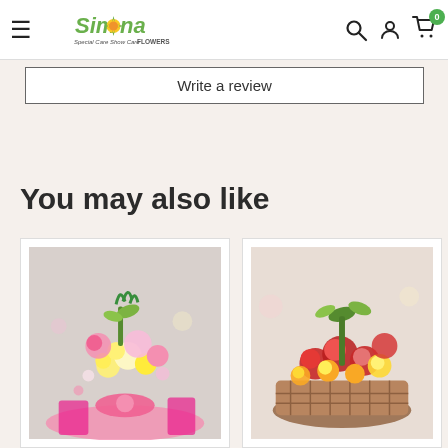Simona Flowers – navigation bar with hamburger menu, search, account, and cart icons
Write a review
You may also like
[Figure (photo): Blurred pink and yellow flower bouquet arrangement with pink ribbon on a white surface]
[Figure (photo): Blurred red and yellow flower basket arrangement on a light background]